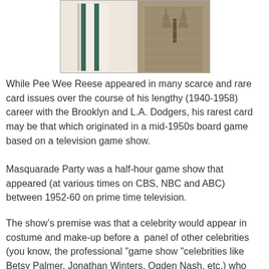[Figure (photo): Two vintage photos side by side: left shows a person wearing light trousers with dark stripes, right shows a person in a tweed or plaid suit jacket.]
While Pee Wee Reese appeared in many scarce and rare card issues over the course of his lengthy (1940-1958) career with the Brooklyn and L.A. Dodgers, his rarest card may be that which originated in a mid-1950s board game based on a television game show.
Masquarade Party was a half-hour game show that appeared (at various times on CBS, NBC and ABC) between 1952-60 on prime time television.
The show’s premise was that a celebrity would appear in costume and make-up before a  panel of other celebrities (you know, the professional "game show "celebrities like Betsy Palmer, Jonathan Winters, Ogden Nash, etc.) who would ask a series of questions to try to determine the identity of man (or woman) behind the mask. For each secod that the costumed celeb stumped the panel, a dollar was